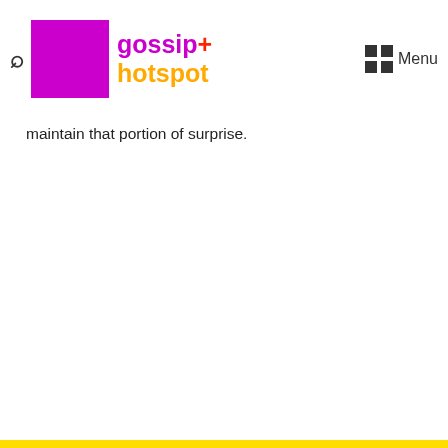gossip+ hotspot
The Republicans pass on this statement to Telemundo, where they also cleared the air regarding the early Telemundo firing. Not willing to give out too much information on the details of his exit as they want to maintain that portion of surprise.